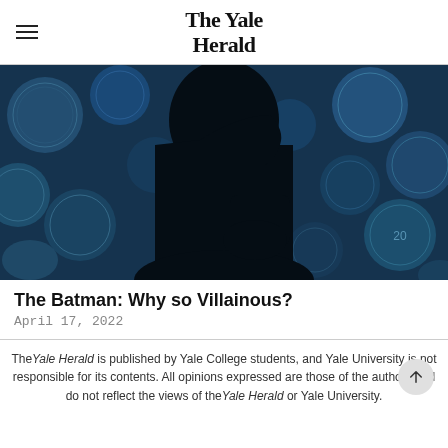The Yale Herald
[Figure (photo): Dark silhouette of a person's profile against a background of blue-tinted coins (euro and other currency coins), creating a dramatic noir atmosphere.]
The Batman: Why so Villainous?
April 17, 2022
The Yale Herald is published by Yale College students, and Yale University is not responsible for its contents. All opinions expressed are those of the authors and do not reflect the views of the Yale Herald or Yale University.